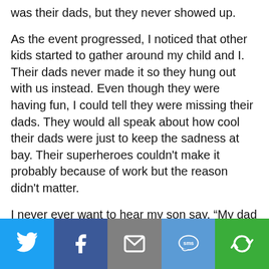was their dads, but they never showed up.
As the event progressed, I noticed that other kids started to gather around my child and I. Their dads never made it so they hung out with us instead. Even though they were having fun, I could tell they were missing their dads. They would all speak about how cool their dads were just to keep the sadness at bay. Their superheroes couldn't make it probably because of work but the reason didn't matter.
I never ever want to hear my son say, “My dad never comes here.” Neither should you. That paycheck might abandon you for the day but the smile on your child’s face will be worth it. Work
[Figure (infographic): Social sharing footer bar with five buttons: Twitter (blue bird icon), Facebook (dark blue f icon), Email (grey envelope icon), SMS (blue speech bubble with 'sms'), Share (green circular arrows icon)]